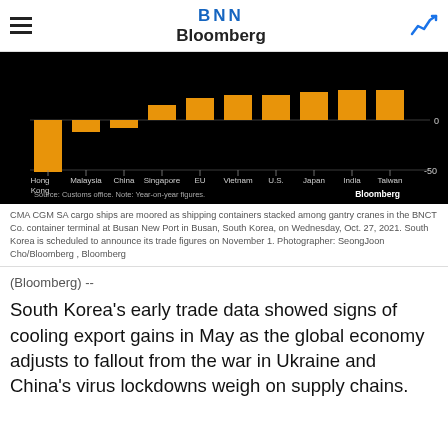BNN Bloomberg
[Figure (bar-chart): South Korea export changes by destination]
CMA CGM SA cargo ships are moored as shipping containers stacked among gantry cranes in the BNCT Co. container terminal at Busan New Port in Busan, South Korea, on Wednesday, Oct. 27, 2021. South Korea is scheduled to announce its trade figures on November 1. Photographer: SeongJoon Cho/Bloomberg , Bloomberg
(Bloomberg) --
South Korea's early trade data showed signs of cooling export gains in May as the global economy adjusts to fallout from the war in Ukraine and China's virus lockdowns weigh on supply chains.